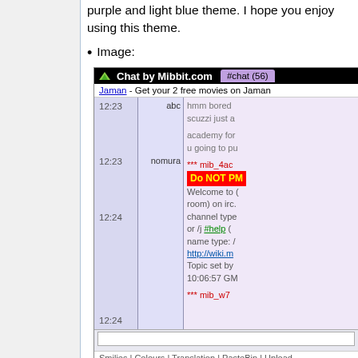purple and light blue theme. I hope you enjoy using this theme.
Image:
[Figure (screenshot): Screenshot of a Mibbit.com chat widget showing a purple/blue themed IRC chat interface with timestamps 12:23 and 12:24, messages from users abc and nomura, and system messages including 'Do NOT PM' warning in red/yellow.]
Creator: Ruth